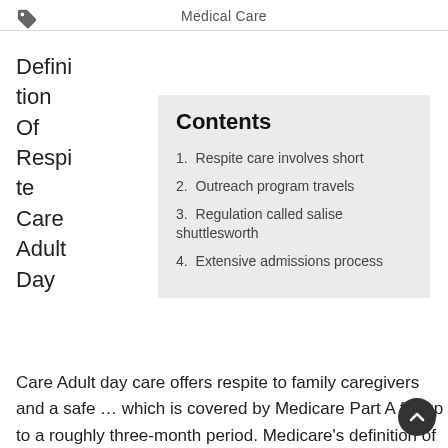Medical Care
Definition Of Respite Care Adult Day
Contents
1. Respite care involves short
2. Outreach program travels
3. Regulation called salise shuttlesworth
4. Extensive admissions process
Care Adult day care offers respite to family caregivers and a safe … which is covered by Medicare Part A for up to a roughly three-month period. Medicare's definition of SNF care encompass… respite care involves short term or temporary care of the sick or disabled for a few hours or weeks, designed Care One Senior Care careone senior care in